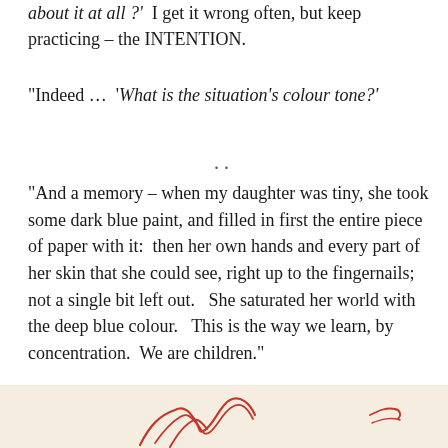about it at all ?'  I get it wrong often, but keep practicing – the INTENTION.
“Indeed …  ‘What is the situation’s colour tone?’
..
“And a memory – when my daughter was tiny, she took some dark blue paint, and filled in first the entire piece of paper with it:  then her own hands and every part of her skin that she could see, right up to the fingernails;  not a single bit left out.   She saturated her world with the deep blue colour.   This is the way we learn, by concentration.  We are children.”
..
[Figure (illustration): Partial view of a red/rust-colored hand-drawn illustration on a cream/off-white background, showing gestural sketch lines]